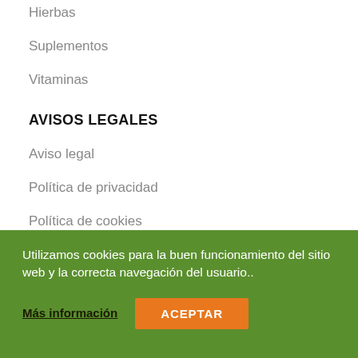Hierbas
Suplementos
Vitaminas
AVISOS LEGALES
Aviso legal
Política de privacidad
Política de cookies
Condiciones generales
Envíos y devoluciones
Utilizamos cookies para la buen funcionamiento del sitio web y la correcta navegación del usuario..
Más información
ACEPTAR